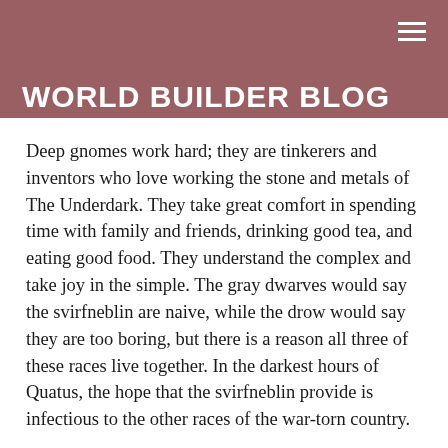WORLD BUILDER BLOG
Deep gnomes work hard; they are tinkerers and inventors who love working the stone and metals of The Underdark. They take great comfort in spending time with family and friends, drinking good tea, and eating good food. They understand the complex and take joy in the simple. The gray dwarves would say the svirfneblin are naive, while the drow would say they are too boring, but there is a reason all three of these races live together. In the darkest hours of Quatus, the hope that the svirfneblin provide is infectious to the other races of the war-torn country.
Amongst the people of the surface, svirfneblin are met with kindness. They are honest merchants and well-mannered diplomats, but they do not often serve in these rolls since they can be easily pushed around since they are too willing to trust. A deep gnome merchant is